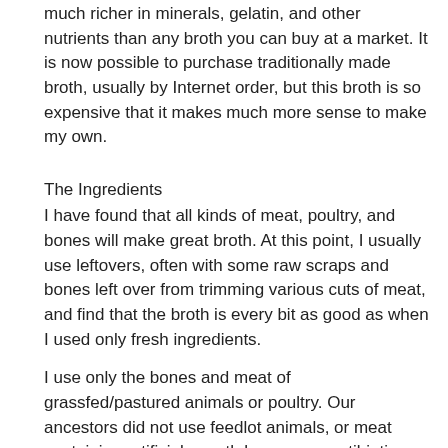much richer in minerals, gelatin, and other nutrients than any broth you can buy at a market. It is now possible to purchase traditionally made broth, usually by Internet order, but this broth is so expensive that it makes much more sense to make my own.
The Ingredients
I have found that all kinds of meat, poultry, and bones will make great broth. At this point, I usually use leftovers, often with some raw scraps and bones left over from trimming various cuts of meat, and find that the broth is every bit as good as when I used only fresh ingredients.
I use only the bones and meat of grassfed/pastured animals or poultry. Our ancestors did not use feedlot animals, or meat containing artificial growth hormones, antibiotics, steroids, and other chemicals, and neither do I.
I use only organic or the equivalent vegetables. I do not want pesticide residue to be released into my broth.
I use only filtered water. My filter uses the reverse osmosis process, which is the only way I know to get rid of the fluoride. Fluoride, chlorine, and aluminum are usually added to tap water, along with other chemicals. I do not want them in my broth. Our ancestors did not